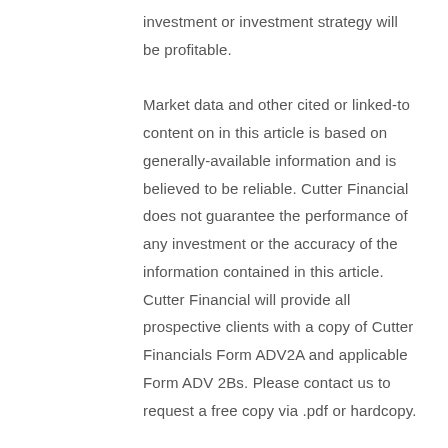investment or investment strategy will be profitable. Market data and other cited or linked-to content on in this article is based on generally-available information and is believed to be reliable. Cutter Financial does not guarantee the performance of any investment or the accuracy of the information contained in this article. Cutter Financial will provide all prospective clients with a copy of Cutter Financials Form ADV2A and applicable Form ADV 2Bs. Please contact us to request a free copy via .pdf or hardcopy.